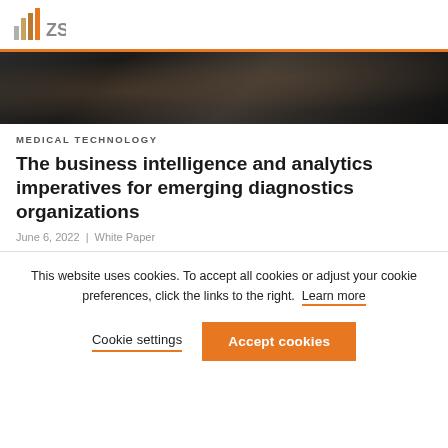ZS
[Figure (photo): Dark photograph showing a person with camera or hands, dark blurred background]
MEDICAL TECHNOLOGY
The business intelligence and analytics imperatives for emerging diagnostics organizations
June 6, 2022 | White Paper
This website uses cookies. To accept all cookies or adjust your cookie preferences, click the links to the right. Learn more
Cookie settings  Accept cookies